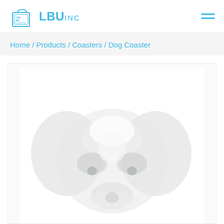LBU INC
Home / Products / Coasters / Dog Coaster
[Figure (photo): Close-up photo of a white Schnauzer dog face looking upward, shown against a white background, faded/light treatment]